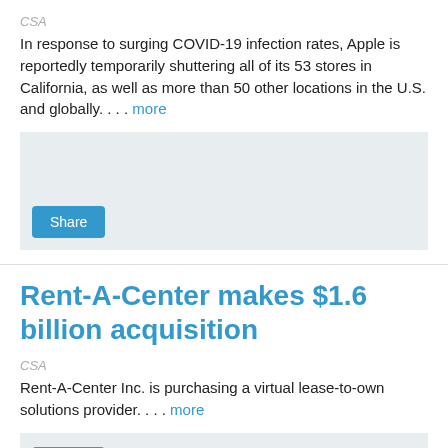CSA
In response to surging COVID-19 infection rates, Apple is reportedly temporarily shuttering all of its 53 stores in California, as well as more than 50 other locations in the U.S. and globally. . . . more
[Figure (other): Share button with light blue/gray media placeholder box]
Rent-A-Center makes $1.6 billion acquisition
CSA
Rent-A-Center Inc. is purchasing a virtual lease-to-own solutions provider. . . . more
[Figure (other): Partial Share button with light blue/gray media placeholder box]